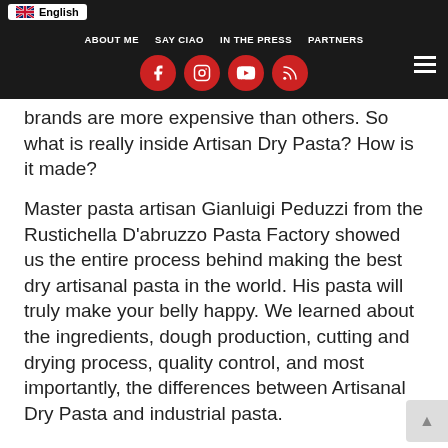English | ABOUT ME | SAY CIAO | IN THE PRESS | PARTNERS
brands are more expensive than others. So what is really inside Artisan Dry Pasta? How is it made?
Master pasta artisan Gianluigi Peduzzi from the Rustichella D'abruzzo Pasta Factory showed us the entire process behind making the best dry artisanal pasta in the world. His pasta will truly make your belly happy. We learned about the ingredients, dough production, cutting and drying process, quality control, and most importantly, the differences between Artisanal Dry Pasta and industrial pasta.